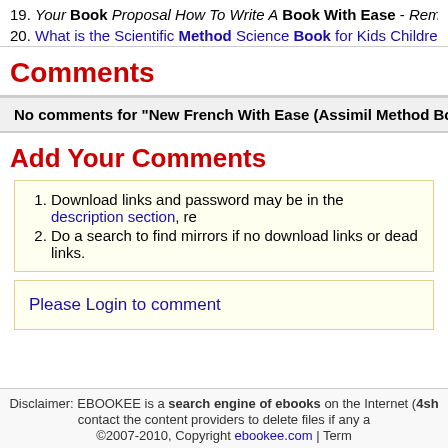19. Your Book Proposal How To Write A Book With Ease - Removed
20. What is the Scientific Method Science Book for Kids Children's Sci
Comments
No comments for "New French With Ease (Assimil Method Book
Add Your Comments
1. Download links and password may be in the description section, re
2. Do a search to find mirrors if no download links or dead links.
Please Login to comment
Disclaimer: EBOOKEE is a search engine of ebooks on the Internet (4sh contact the content providers to delete files if any a ©2007-2010, Copyright ebookee.com | Term